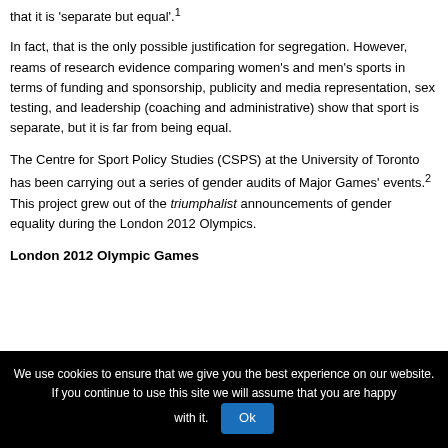understanding and the assumption — both implicit and explicit — that it is 'separate but equal'.¹
In fact, that is the only possible justification for segregation. However, reams of research evidence comparing women's and men's sports in terms of funding and sponsorship, publicity and media representation, sex testing, and leadership (coaching and administrative) show that sport is separate, but it is far from being equal.
The Centre for Sport Policy Studies (CSPS) at the University of Toronto has been carrying out a series of gender audits of Major Games' events.² This project grew out of the triumphalist announcements of gender equality during the London 2012 Olympics.
London 2012 Olympic Games
We use cookies to ensure that we give you the best experience on our website. If you continue to use this site we will assume that you are happy with it. Ok